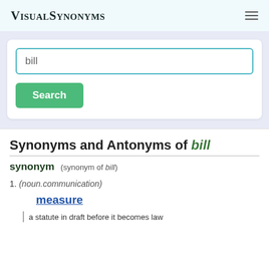VisualSynonyms
[Figure (screenshot): Search box with text 'bill' and a green Search button]
Synonyms and Antonyms of bill
synonym (synonym of bill)
1. (noun.communication)
measure
a statute in draft before it becomes law